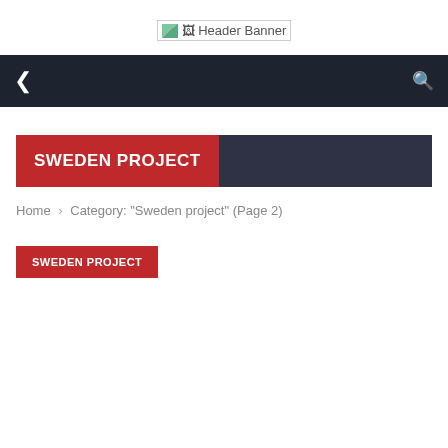[Figure (illustration): Header Banner broken image placeholder with alt text 'Header Banner']
Navigation bar with menu icon and search icon on dark background
SWEDEN PROJECT
Home › Category: "Sweden project" (Page 2)
SWEDEN PROJECT